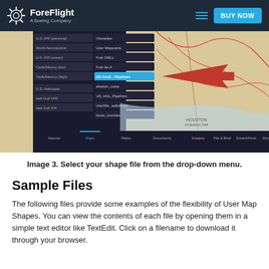ForeFlight — A Boeing Company | BUY NOW
[Figure (screenshot): Screenshot of ForeFlight app showing a map with a drop-down menu listing map layers including U.S. Crude Pipelines highlighted, with a red arrow pointing to it. The map shows the Gulf Coast/Houston area with IFR chart overlays.]
Image 3. Select your shape file from the drop-down menu.
Sample Files
The following files provide some examples of the flexibility of User Map Shapes. You can view the contents of each file by opening them in a simple text editor like TextEdit. Click on a filename to download it through your browser.